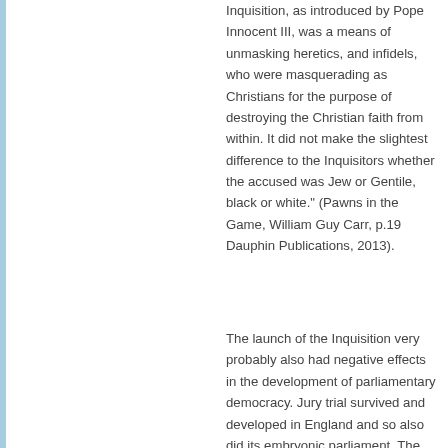Inquisition, as introduced by Pope Innocent III, was a means of unmasking heretics, and infidels, who were masquerading as Christians for the purpose of destroying the Christian faith from within. It did not make the slightest difference to the Inquisitors whether the accused was Jew or Gentile, black or white." (Pawns in the Game, William Guy Carr, p.19 Dauphin Publications, 2013).
The launch of the Inquisition very probably also had negative effects in the development of parliamentary democracy. Jury trial survived and developed in England and so also did its embryonic parliament. The opposite occurred in France, both with respect to jury trial and its early